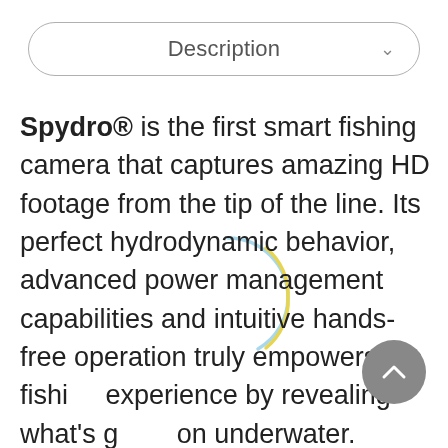[Figure (screenshot): Dropdown/accordion UI element labeled 'Description' with rounded border and chevron icon]
Spydro® is the first smart fishing camera that captures amazing HD footage from the tip of the line. Its perfect hydrodynamic behavior, advanced power management capabilities and intuitive hands-free operation truly empowers the fishing experience by revealing what's going on underwater. Synced with our